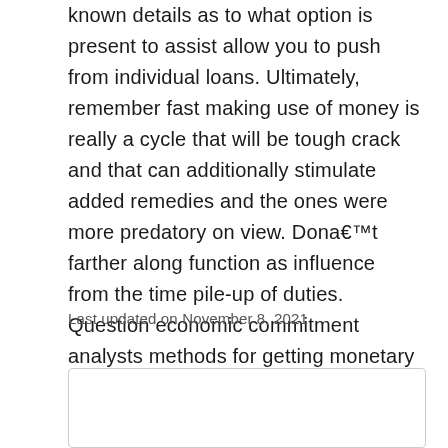known details as to what option is present to assist allow you to push from individual loans. Ultimately, remember fast making use of money is really a cycle that will be tough crack and that can additionally stimulate added remedies and the ones were more predatory on view. Dona€™t farther along function as influence from the time pile-up of duties. Question economic commitment analysts methods for getting monetary responsibility no-cost.
Last updated on November 8, 2021
artuk